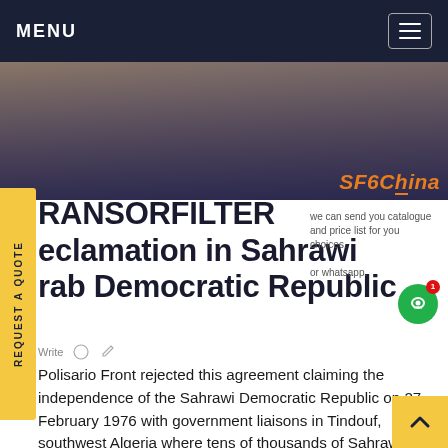MENU
[Figure (photo): Photograph of people's legs and feet standing on a colorful striped carpet or rug, with SF6China watermark in orange in bottom right corner]
TRANSORFILTER Reclamation in Sahrawi Arab Democratic Republic
we can send you catalogue and price list for you choices. or whatsapp.
The Polisario Front rejected this agreement claiming the independence of the Sahrawi Democratic Republic on 27 February 1976 with government liaisons in Tindouf, southwest Algeria where tens of thousands of Sahrawi refugees have fled across the border since 1975.23 Exactly a month after the Madrid Accord, 13 December 1975,24 the